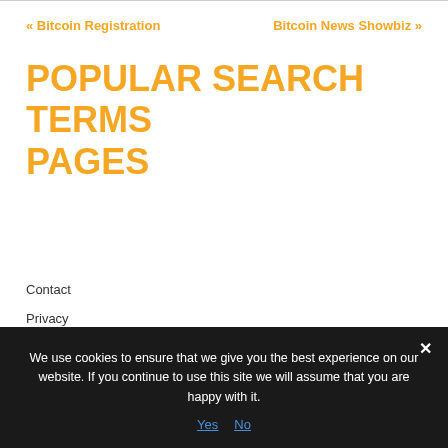« Bitcoin Registration   Bitcoin News Showbiz »
POPULAR SEARCH TERMS PAGES
Contact
Privacy
Sitemap
We use cookies to ensure that we give you the best experience on our website. If you continue to use this site we will assume that you are happy with it.
Yes  No